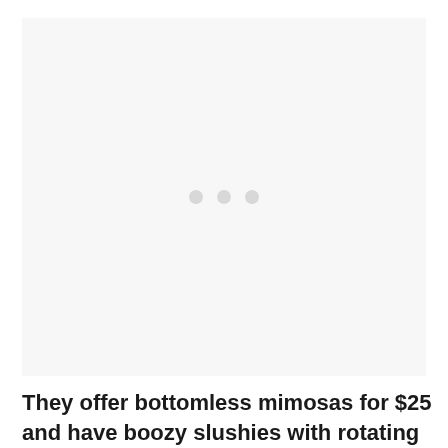[Figure (photo): A large light gray placeholder image area with three small gray dots centered in the middle, indicating an image loading state.]
They offer bottomless mimosas for $25 and have boozy slushies with rotating flavors.